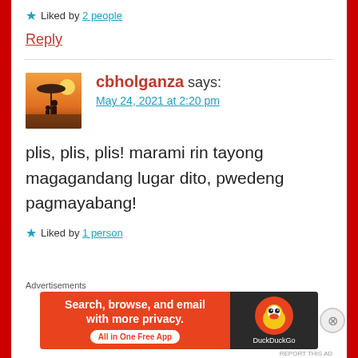★ Liked by 2 people
Reply
cbholganza says: May 24, 2021 at 2:20 pm
plis, plis, plis! marami rin tayong magagandang lugar dito, pwedeng pagmayabang!
★ Liked by 1 person
[Figure (illustration): DuckDuckGo advertisement banner: Search, browse, and email with more privacy. All in One Free App. Duck logo on dark background.]